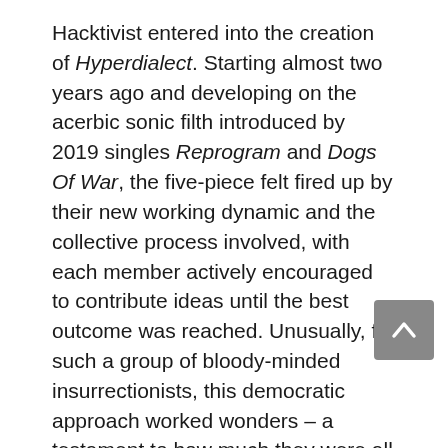Hacktivist entered into the creation of Hyperdialect. Starting almost two years ago and developing on the acerbic sonic filth introduced by 2019 singles Reprogram and Dogs Of War, the five-piece felt fired up by their new working dynamic and the collective process involved, with each member actively encouraged to contribute ideas until the best outcome was reached. Unusually, for such a group of bloody-minded insurrectionists, this democratic approach worked wonders – a testament to how much they were all on the same page on these 12 tracks. Aside from guest spots from rapper Kid Bookie on the monstrous Armoured Core and Betraying The Martyrs' Aaron Matts lending his vocal talents to the